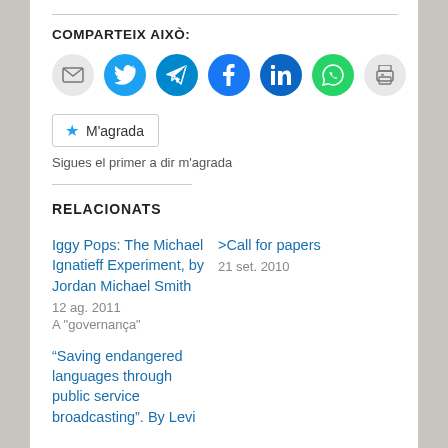COMPARTEIX AIXÒ:
[Figure (illustration): Row of social sharing icon buttons: email (grey circle), Twitter (blue), Telegram (dark blue), Facebook (blue), LinkedIn (dark blue), WhatsApp (green), Print (grey)]
[Figure (illustration): M'agrada (Like) button with star icon]
Sigues el primer a dir m'agrada
RELACIONATS
Iggy Pops: The Michael Ignatieff Experiment, by Jordan Michael Smith
12 ag. 2011
A "governança"
>Call for papers
21 set. 2010
“Saving endangered languages through public service broadcasting”. By Levi